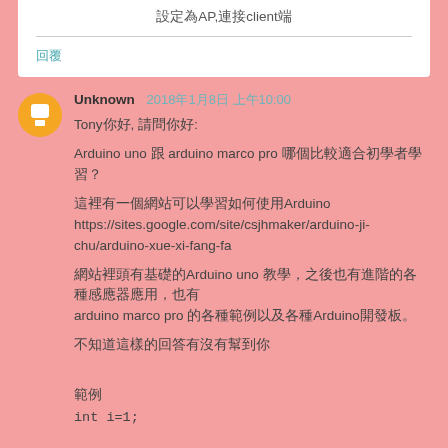設定為AP,連接client端
回覆
Unknown  2018年1月8日 上午10:00
Tony你好, 請問你好:

Arduino uno 跟 arduino marco pro 哪個比較適合初學者學習？

這裡有一個網站可以學習如何使用Arduino
https://sites.google.com/site/csjhmaker/arduino-ji-chu/arduino-xue-xi-fang-fa

網站裡頭有基礎的Arduino uno 教學，之後也有進階的各種感應器應用，也有arduino marco pro 的各種範例以及各種Arduino開發板。

不知道這樣的回答有沒有幫到你

範例
int i=1;